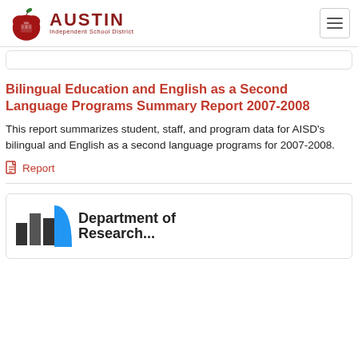Austin Independent School District
Bilingual Education and English as a Second Language Programs Summary Report 2007-2008
This report summarizes student, staff, and program data for AISD's bilingual and English as a second language programs for 2007-2008.
Report
[Figure (logo): Department of Research logo with vertical bar chart icon and blue accent shape]